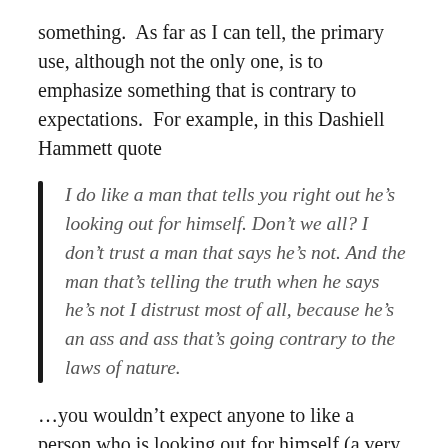something.  As far as I can tell, the primary use, although not the only one, is to emphasize something that is contrary to expectations.  For example, in this Dashiell Hammett quote
I do like a man that tells you right out he’s looking out for himself. Don’t we all? I don’t trust a man that says he’s not. And the man that’s telling the truth when he says he’s not I distrust most of all, because he’s an ass and ass that’s going contrary to the laws of nature.
…you wouldn’t expect anyone to like a person who is looking out for himself (a very Trumpian